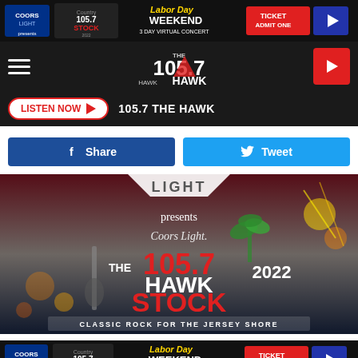[Figure (screenshot): Top advertisement banner for Coors Light presents 105.7 The Hawk Stock 2022 Labor Day Weekend 3 Day Virtual Concert with Ticket Admit One button]
[Figure (screenshot): Navigation bar with hamburger menu, 105.7 The Hawk logo, and red play button]
[Figure (screenshot): Listen Now button bar with station name 105.7 THE HAWK]
[Figure (screenshot): Facebook Share and Twitter Tweet social sharing buttons]
[Figure (illustration): Main promotional graphic: Coors Light presents 105.7 The Hawk Stock 2022 Classic Rock for the Jersey Shore event image with American flag background, sparklers, and cartoon character]
[Figure (screenshot): Bottom advertisement banner for Coors Light presents 105.7 The Hawk Stock 2022 Labor Day Weekend 3 Day Virtual Concert]